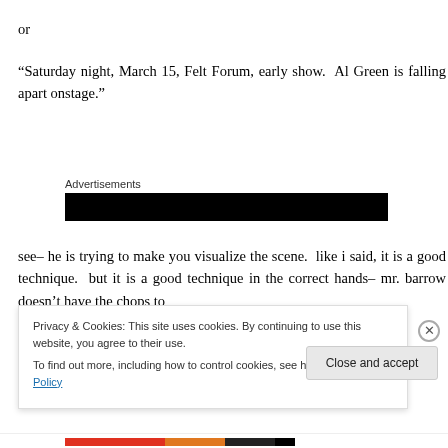or
“Saturday night, March 15, Felt Forum, early show.  Al Green is falling apart onstage.”
[Figure (other): Advertisements label with black banner bar below it]
see– he is trying to make you visualize the scene.  like i said, it is a good technique.  but it is a good technique in the correct hands– mr. barrow doesn’t have the chops to
Privacy & Cookies: This site uses cookies. By continuing to use this website, you agree to their use.
To find out more, including how to control cookies, see here: Cookie Policy
Close and accept